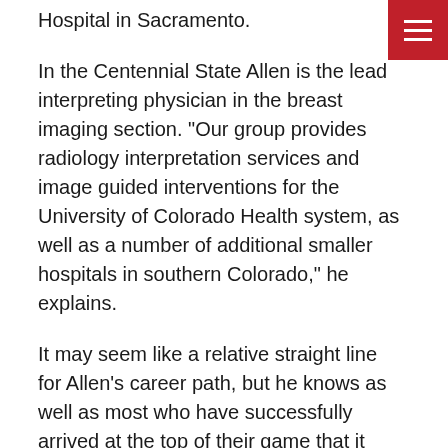Hospital in Sacramento.
In the Centennial State Allen is the lead interpreting physician in the breast imaging section. “Our group provides radiology interpretation services and image guided interventions for the University of Colorado Health system, as well as a number of additional smaller hospitals in southern Colorado,” he explains.
It may seem like a relative straight line for Allen’s career path, but he knows as well as most who have successfully arrived at the top of their game that it requires hard work. “Study hard,” he reminds those at the U who are just beginning their academic and professional careers. “Accept challenges and learn from mistakes (both your own AND the mistakes of others).” Setbacks and failures, he concludes, “are stepping stones toward great success!”
The current pandemic has been